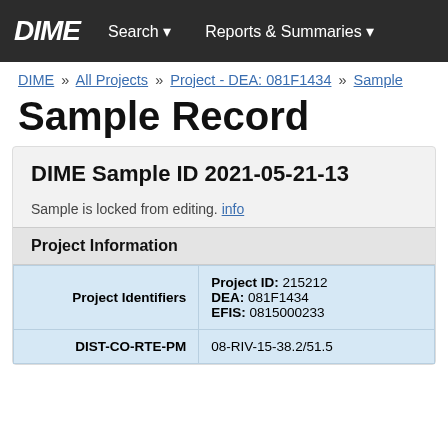DIME   Search ▾   Reports & Summaries ▾
DIME » All Projects » Project - DEA: 081F1434 » Sample
Sample Record
DIME Sample ID 2021-05-21-13
Sample is locked from editing. info
Project Information
|  |  |
| --- | --- |
| Project Identifiers | Project ID: 215212
DEA: 081F1434
EFIS: 0815000233 |
| DIST-CO-RTE-PM | 08-RIV-15-38.2/51.5 |